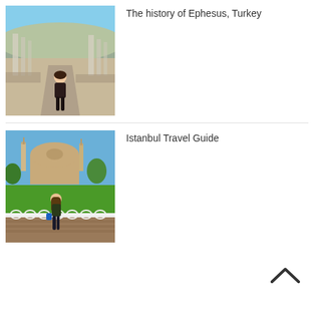[Figure (photo): A woman walking through the ancient ruins of Ephesus, Turkey, with marble columns and stone-paved path visible.]
The history of Ephesus, Turkey
[Figure (photo): A woman standing in front of the Hagia Sophia mosque in Istanbul, Turkey, with a green lawn and ornate white fence visible.]
Istanbul Travel Guide